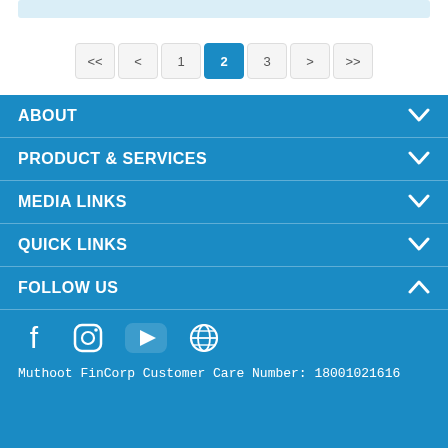[Figure (screenshot): Pagination control showing pages <<, <, 1, 2 (active/highlighted), 3, >, >>]
ABOUT
PRODUCT & SERVICES
MEDIA LINKS
QUICK LINKS
FOLLOW US
[Figure (infographic): Social media icons: Facebook, Instagram, YouTube, Globe/Website]
Muthoot FinCorp Customer Care Number: 18001021616